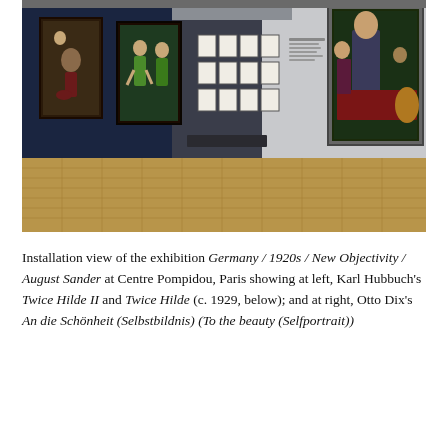[Figure (photo): Installation view of a museum gallery showing paintings on dark blue and light grey walls. On the left dark blue wall hang two figural paintings: one showing a crouching figure, another showing two dancers in green. In the center background, a series of smaller framed works are displayed in a grid. On the right light grey wall hangs a large painting showing a man in a suit at a table with figures. The floor is light wood parquet.]
Installation view of the exhibition Germany / 1920s / New Objectivity / August Sander at Centre Pompidou, Paris showing at left, Karl Hubbuch's Twice Hilde II and Twice Hilde (c. 1929, below); and at right, Otto Dix's An die Schönheit (Selbstbildnis) (To the beauty (Selfportrait))